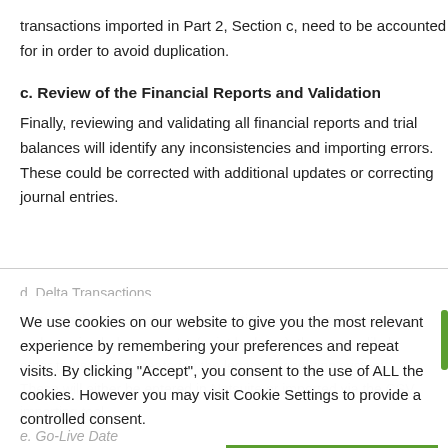transactions imported in Part 2, Section c, need to be accounted for in order to avoid duplication.
c. Review of the Financial Reports and Validation
Finally, reviewing and validating all financial reports and trial balances will identify any inconsistencies and importing errors. These could be corrected with additional updates or correcting journal entries.
d. Delta Transactions
Between the import of open transactions (see Part 2, Section c) and opening balances entry (point b above), there were likely other transactions created in the legacy accounting system. These will either be entered in Netsuite or imported via the CSV importing tool.
We use cookies on our website to give you the most relevant experience by remembering your preferences and repeat visits. By clicking “Accept”, you consent to the use of ALL the cookies. However you may visit Cookie Settings to provide a controlled consent.
Cookie settings
ACCEPT
e. Go-Live Date